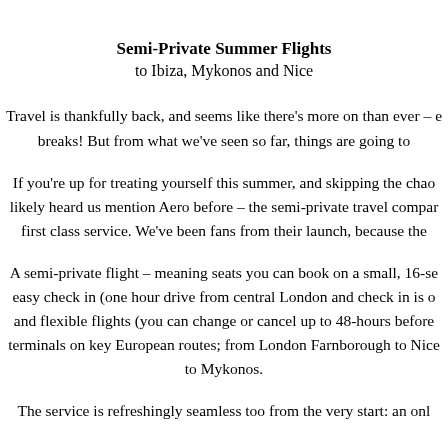Semi-Private Summer Flights
to Ibiza, Mykonos and Nice
Travel is thankfully back, and seems like there’s more on than ever – e… breaks! But from what we’ve seen so far, things are going to…
If you’re up for treating yourself this summer, and skipping the chao… likely heard us mention Aero before – the semi-private travel compar… first class service. We’ve been fans from their launch, because the…
A semi-private flight – meaning seats you can book on a small, 16-se… easy check in (one hour drive from central London and check in is o… and flexible flights (you can change or cancel up to 48-hours before… terminals on key European routes; from London Farnborough to Nice… to Mykonos.
The service is refreshingly seamless too from the very start: an onl…